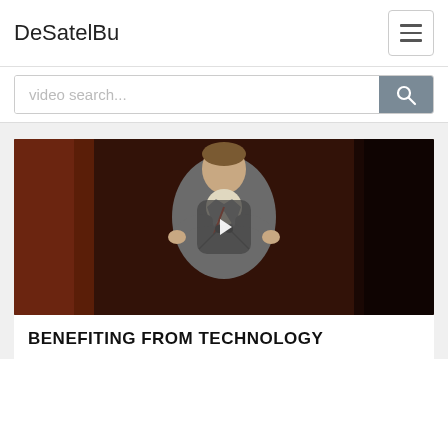DeSatelBu
video search...
[Figure (screenshot): Video thumbnail showing a man in a grey blazer speaking at a podium with microphones, with a play button overlay in the center. The background is dark brownish-red.]
BENEFITING FROM TECHNOLOGY